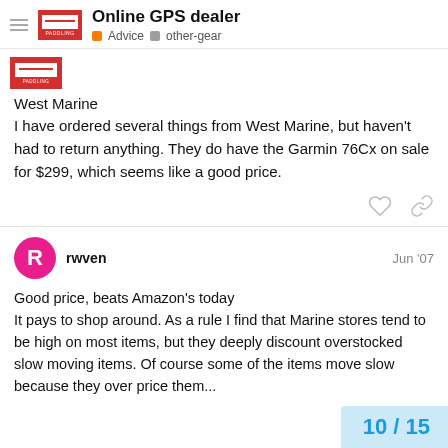Online GPS dealer | Advice | other-gear
[Figure (logo): Paddling.com red logo stamp]
West Marine
I have ordered several things from West Marine, but haven't had to return anything. They do have the Garmin 76Cx on sale for $299, which seems like a good price.
rwven  Jun '07
Good price, beats Amazon's today
It pays to shop around. As a rule I find that Marine stores tend to be high on most items, but they deeply discount overstocked slow moving items. Of course some of the items move slow because they over price them...
10 / 15